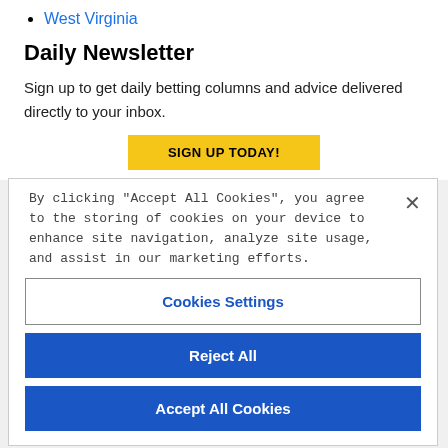West Virginia
Daily Newsletter
Sign up to get daily betting columns and advice delivered directly to your inbox.
[Figure (screenshot): Yellow 'SIGN UP TODAY!' button, partially visible]
By clicking “Accept All Cookies”, you agree to the storing of cookies on your device to enhance site navigation, analyze site usage, and assist in our marketing efforts.
Cookies Settings
Reject All
Accept All Cookies